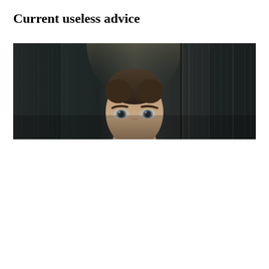Current useless advice
[Figure (photo): A dramatic wide-format photo showing a person's face (eyes and forehead) peeking over a ledge or surface. The background features dark, moody vertical streaks suggesting rain or a dark textured wall with a faint light source behind the person's head. The mood is mysterious and cinematic.]